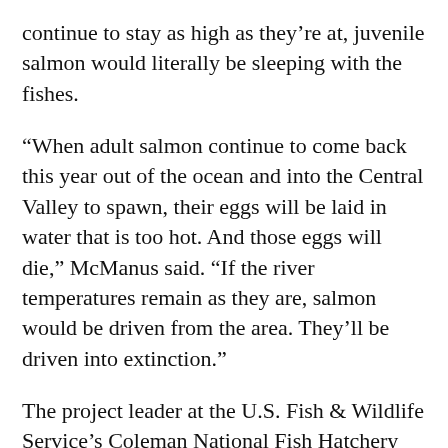continue to stay as high as they’re at, juvenile salmon would literally be sleeping with the fishes.
“When adult salmon continue to come back this year out of the ocean and into the Central Valley to spawn, their eggs will be laid in water that is too hot. And those eggs will die,” McManus said. “If the river temperatures remain as they are, salmon would be driven from the area. They’ll be driven into extinction.”
The project leader at the U.S. Fish & Wildlife Service’s Coleman National Fish Hatchery told CBS13 that the odds are good if the young fish find cold water and avoid predators once they hatch.